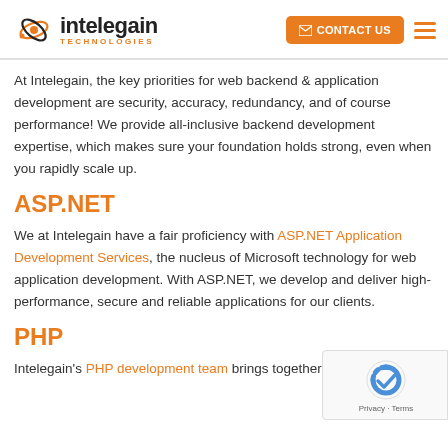intelegain TECHNOLOGIES | CONTACT US
At Intelegain, the key priorities for web backend & application development are security, accuracy, redundancy, and of course performance! We provide all-inclusive backend development expertise, which makes sure your foundation holds strong, even when you rapidly scale up.
ASP.NET
We at Intelegain have a fair proficiency with ASP.NET Application Development Services, the nucleus of Microsoft technology for web application development. With ASP.NET, we develop and deliver high-performance, secure and reliable applications for our clients.
PHP
Intelegain's PHP development team brings together over 40